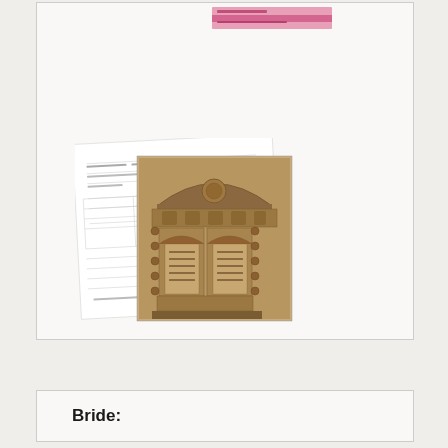[Figure (other): A composite image showing a document form/record overlaid with a sepia photograph of an ornate architectural element (likely an ark or decorative panel with arched doorways, carved details, and decorative border with spherical ornaments). Above the composite is a pink label/tag strip. The overall image appears to be a museum or archive catalog card.]
Bride: